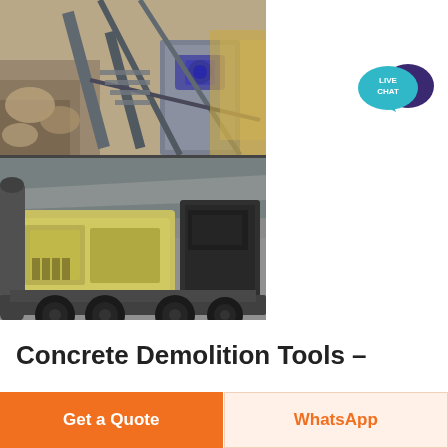[Figure (photo): Two industrial heavy machinery photos: top shows a stone crusher/conveyor system at a quarry site with rocky terrain; bottom shows a mobile impact crusher on a truck/trailer chassis at a construction/industrial yard.]
[Figure (illustration): Live Chat badge — teal speech bubble with 'LIVE CHAT' text and a dark purple speech bubble icon to the right.]
Concrete Demolition Tools –
Get a Quote
WhatsApp